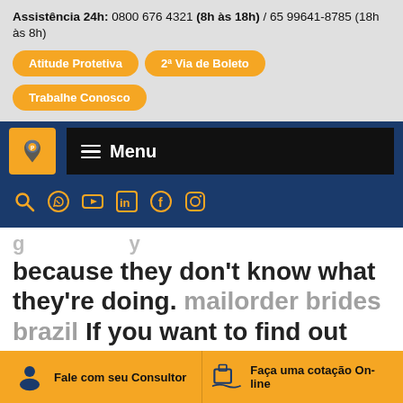Assistência 24h: 0800 676 4321 (8h às 18h) / 65 99641-8785 (18h às 8h)
Atitude Protetiva
2ª Via de Boleto
Trabalhe Conosco
[Figure (logo): Company logo on orange background in navigation bar]
≡ Menu
[Figure (other): Social media icons: search, WhatsApp, YouTube, LinkedIn, Facebook, Instagram in orange on dark blue background]
because they don't know what they're doing. mailorder brides brazil If you want to find out about the very best dating
Fale com seu Consultor
Faça uma cotação On-line